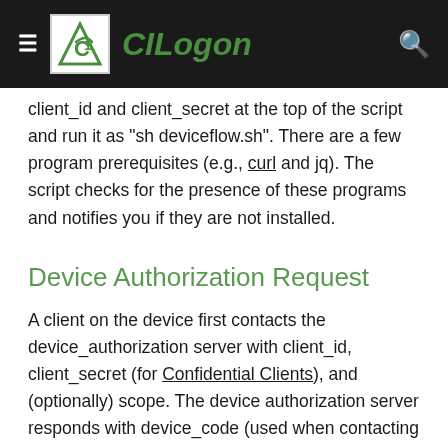CILogon
client_id and client_secret at the top of the script and run it as "sh deviceflow.sh". There are a few program prerequisites (e.g., curl and jq). The script checks for the presence of these programs and notifies you if they are not installed.
Device Authorization Request
A client on the device first contacts the device_authorization server with client_id, client_secret (for Confidential Clients), and (optionally) scope. The device authorization server responds with device_code (used when contacting the token endpoint), user_code, and verification_uri